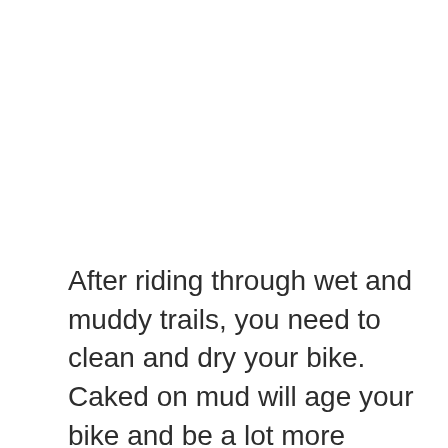After riding through wet and muddy trails, you need to clean and dry your bike. Caked on mud will age your bike and be a lot more difficult to remove.
Clean the tires with a soft brush. Only use a rougher brush if needed. Wipe down the frame and all the removable parts. For now the